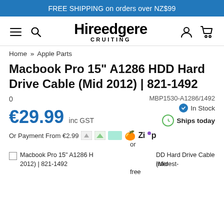FREE SHIPPING on orders over NZ$99
[Figure (logo): Hireedgere CRUITING logo with hamburger menu, search icon, user icon, and cart icon]
Home » Apple Parts
Macbook Pro 15" A1286 HDD Hard Drive Cable (Mid 2012) | 821-1492
0   MBP1530-A1286/1492
● In Stock
🕐 Ships today
€29.99 inc GST
Or Payment From €2.99  [icons] or
☐ Macbook Pro 15" A1286 HDD Hard Drive Cable (Mid 2012) | 821-1492   interest-free